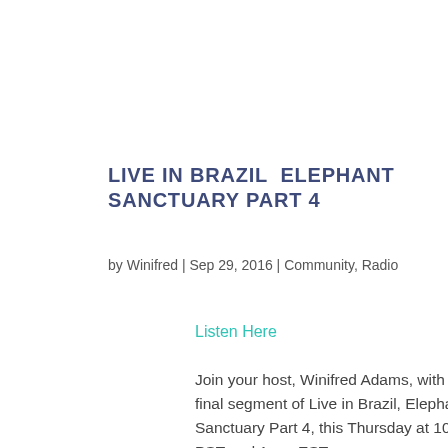LIVE IN BRAZIL  ELEPHANT SANCTUARY PART 4
by Winifred | Sep 29, 2016 | Community, Radio
Listen Here
Join your host, Winifred Adams, with her final segment of Live in Brazil, Elephant Sanctuary Part 4, this Thursday at 10am PST and 1 pm EST.
Find out what is in store for the sanctuary and how you can help. Learn the plan and find out from Scott, President of the Sanctuary, what it